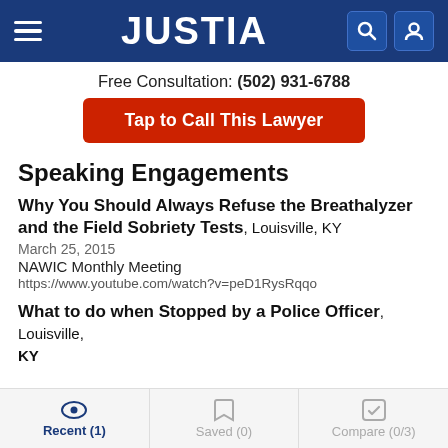JUSTIA
Free Consultation: (502) 931-6788
Tap to Call This Lawyer
Speaking Engagements
Why You Should Always Refuse the Breathalyzer and the Field Sobriety Tests, Louisville, KY
March 25, 2015
NAWIC Monthly Meeting
https://www.youtube.com/watch?v=peD1RysRqqo
What to do when Stopped by a Police Officer, Louisville, KY
Recent (1)  Saved (0)  Compare (0/3)